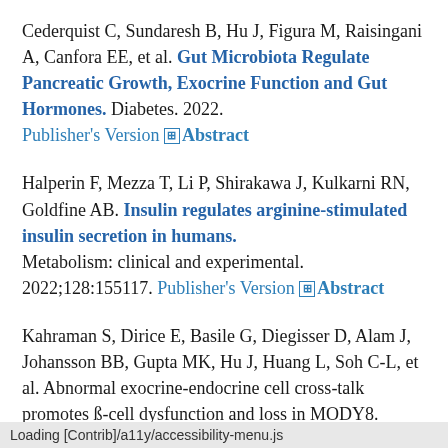Cederquist C, Sundaresh B, Hu J, Figura M, Raisingani A, Canfora EE, et al. Gut Microbiota Regulate Pancreatic Growth, Exocrine Function and Gut Hormones. Diabetes. 2022. Publisher's Version [+] Abstract
Halperin F, Mezza T, Li P, Shirakawa J, Kulkarni RN, Goldfine AB. Insulin regulates arginine-stimulated insulin secretion in humans. Metabolism: clinical and experimental. 2022;128:155117. Publisher's Version [+] Abstract
Kahraman S, Dirice E, Basile G, Diegisser D, Alam J, Johansson BB, Gupta MK, Hu J, Huang L, Soh C-L, et al. Abnormal exocrine-endocrine cell cross-talk promotes ß-cell dysfunction and loss in MODY8.
Loading [Contrib]/a11y/accessibility-menu.js